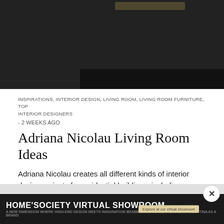[Figure (photo): Interior design photo showing bar stools with golden/velvet seats and black legs at a kitchen counter, with window blinds and a decorative vine/branch visible on the left side.]
INSPIRATIONS, INTERIOR DESIGN, LIVING ROOM, LIVING ROOM FURNITURE, TOP INTERIOR DESIGNERS
- 2 WEEKS AGO
Adriana Nicolau Living Room Ideas
Adriana Nicolau creates all different kinds of interior design projects for residential buildings, including homes, v...
[Figure (other): Comment icon button]
[Figure (other): Share icon button]
HOME'SOCIETY VIRTUAL SHOWROOM
A new dimension where high-end design meets imagination BRABBU, RUG'SOCIETY & MAISON VALENTINA as a brand